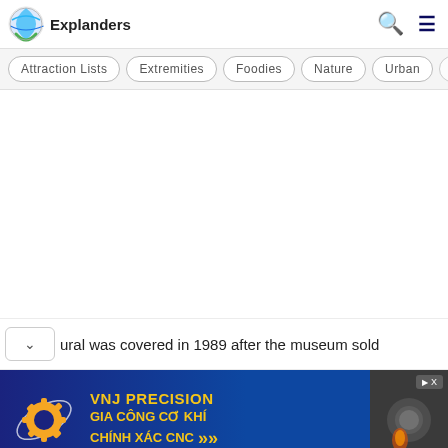Explanders
[Figure (logo): Explanders logo: circular globe icon in blue and green, with text 'Explanders' below]
Attraction Lists | Extremities | Foodies | Nature | Urban | Rur...
ural was covered in 1989 after the museum sold
[Figure (infographic): VNJ Precision advertisement banner with gear logo, yellow text: 'VNJ PRECISION GIA CÔNG CƠ KHÍ CHÍNH XÁC CNC' with yellow arrows, on dark blue background, with a metal machining image on the right side.]